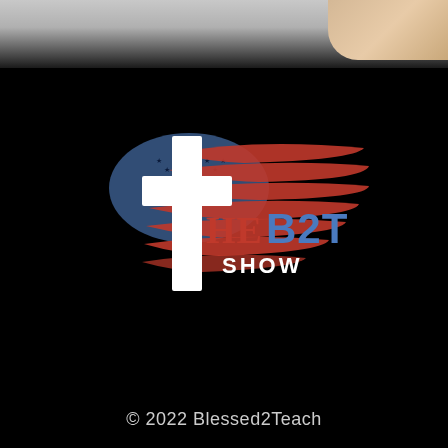[Figure (logo): The B2T Show logo featuring a white Christian cross overlaid on a distressed American flag design with red and white stripes and blue field with stars, on a black background]
© 2022 Blessed2Teach